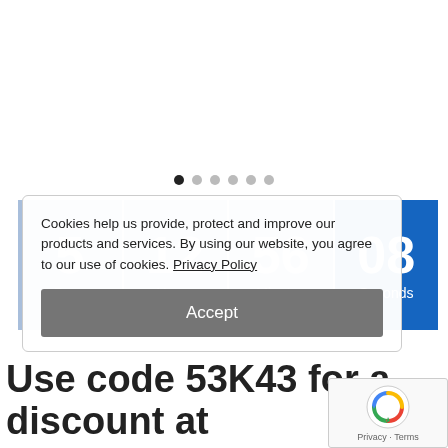[Figure (other): Product image carousel - top portion visible at top of page, mostly cropped]
[Figure (other): Carousel dot navigation indicators - 6 dots, first dot active (dark), rest light gray]
[Figure (other): Countdown timer showing days, hours, minutes, seconds: 5, 12, 56, 08 with light blue cells and dark blue seconds cell]
Cookies help us provide, protect and improve our products and services. By using our website, you agree to our use of cookies. Privacy Policy
Accept
Use code 53K43 for a discount at